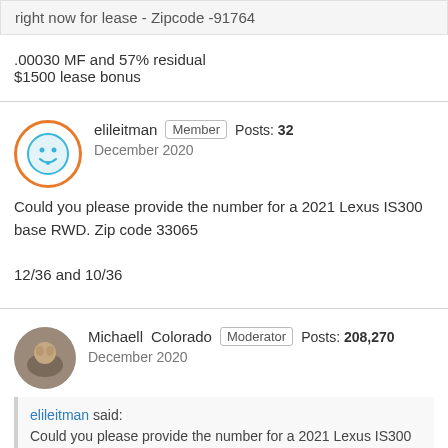right now for lease - Zipcode -91764
.00030 MF and 57% residual
$1500 lease bonus
elileitman Member Posts: 32
December 2020
Could you please provide the number for a 2021 Lexus IS300 base RWD. Zip code 33065

12/36 and 10/36
Michaell Colorado Moderator Posts: 208,270
December 2020
elileitman said:
Could you please provide the number for a 2021 Lexus IS300 base RWD. Zip code 33065